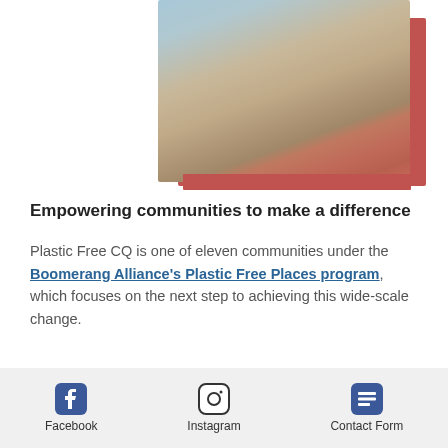[Figure (photo): Blurred outdoor photo of a person at a beach/sandy area, partially cropped, with a coral/red decorative border element behind it.]
Empowering communities to make a difference
Plastic Free CQ is one of eleven communities under the Boomerang Alliance's Plastic Free Places program, which focuses on the next step to achieving this wide-scale change.
Facebook  Instagram  Contact Form